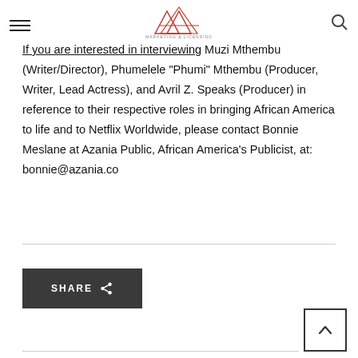AAA Marketing & Licensing logo with hamburger menu and search icon
If you are interested in interviewing Muzi Mthembu (Writer/Director), Phumelele "Phumi" Mthembu (Producer, Writer, Lead Actress), and Avril Z. Speaks (Producer) in reference to their respective roles in bringing African America to life and to Netflix Worldwide, please contact Bonnie Meslane at Azania Public, African America's Publicist, at: bonnie@azania.co
[Figure (other): Share button with share icon]
[Figure (other): Back to top arrow button]